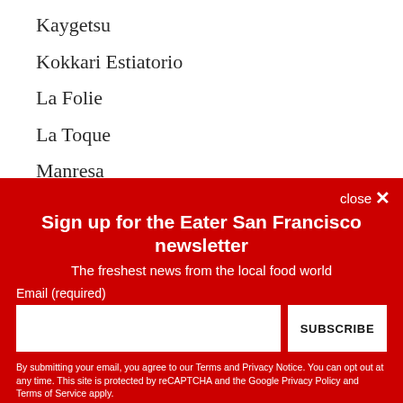Kaygetsu
Kokkari Estiatorio
La Folie
La Toque
Manresa
Marinus
Masa's
Sign up for the Eater San Francisco newsletter
The freshest news from the local food world
Email (required)
By submitting your email, you agree to our Terms and Privacy Notice. You can opt out at any time. This site is protected by reCAPTCHA and the Google Privacy Policy and Terms of Service apply.